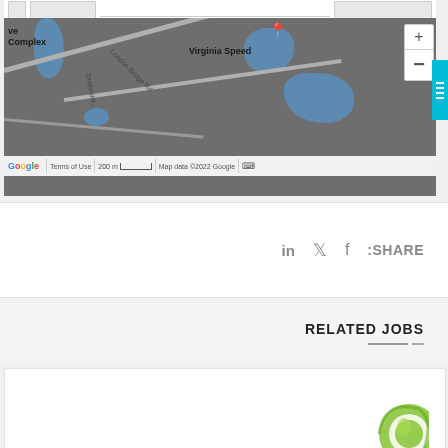[Figure (map): Google Maps embed showing area around Virginia Speed, with London Bridge Rd, Drakesmile road labels, blue water areas, zoom controls, Google logo, Terms of Use, 200m scale bar, and Map data ©2022 Google attribution. A cyan sidebar tab is visible on the right edge.]
SHARE: (LinkedIn icon) (Twitter icon) (Facebook icon)
RELATED JOBS
[Figure (logo): Green circular logo (Achieve/company logo) partially visible at bottom right of a white card]